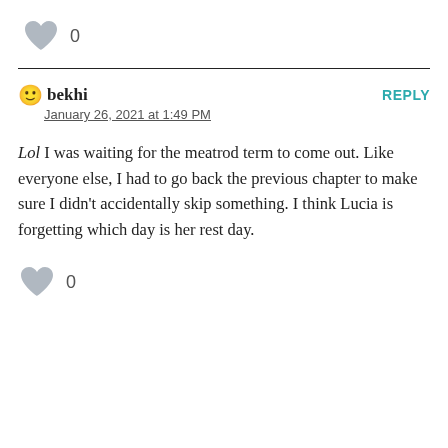[Figure (other): Gray heart icon with count 0]
0
bekhi
REPLY
January 26, 2021 at 1:49 PM
Lol I was waiting for the meatrod term to come out. Like everyone else, I had to go back the previous chapter to make sure I didn't accidentally skip something. I think Lucia is forgetting which day is her rest day.
[Figure (other): Gray heart icon with count 0]
0